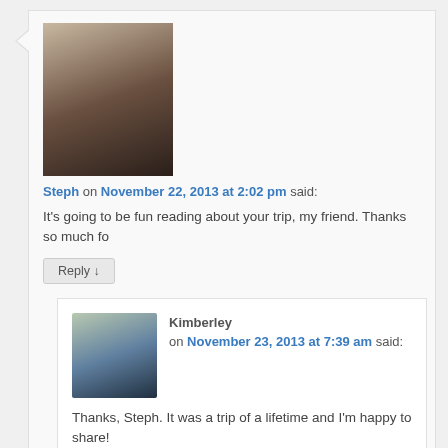[Figure (photo): Avatar photo of Steph, a woman with curly hair]
Steph on November 22, 2013 at 2:02 pm said:
It's going to be fun reading about your trip, my friend. Thanks so much fo
Reply ↓
[Figure (photo): Avatar photo of Kimberley, a woman with light hair]
Kimberley on November 23, 2013 at 7:39 am said:
Thanks, Steph. It was a trip of a lifetime and I'm happy to share!
Reply ↓
[Figure (photo): Avatar photo of another commenter, a woman with glasses]